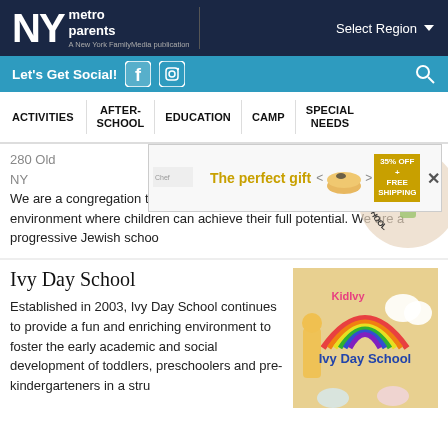NY metro parents — A New York FamilyMedia publication | Select Region
Let's Get Social!
ACTIVITIES  AFTER-SCHOOL  EDUCATION  CAMP  SPECIAL NEEDS
280 Old NY
We are a congregation that is dedicated to providing a warm and nurturing environment where children can achieve their full potential. We are a progressive Jewish schoo
[Figure (advertisement): Advertisement with text 'The perfect gift', bowl of food image, 35% OFF + FREE SHIPPING badge, close button]
[Figure (illustration): Nursery school circular logo with text around the edge]
Ivy Day School
Established in 2003, Ivy Day School continues to provide a fun and enriching environment to foster the early academic and social development of toddlers, preschoolers and pre-kindergarteners in a stru
[Figure (logo): Ivy Day School logo with cartoon animals and rainbow, KidIvy branding]